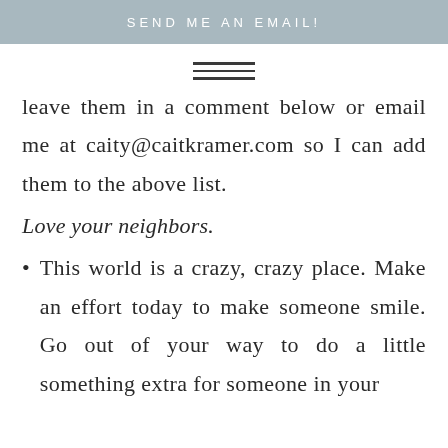SEND ME AN EMAIL!
[Figure (other): Hamburger menu icon with three horizontal lines]
leave them in a comment below or email me at caity@caitkramer.com so I can add them to the above list.
Love your neighbors.
This world is a crazy, crazy place. Make an effort today to make someone smile. Go out of your way to do a little something extra for someone in your